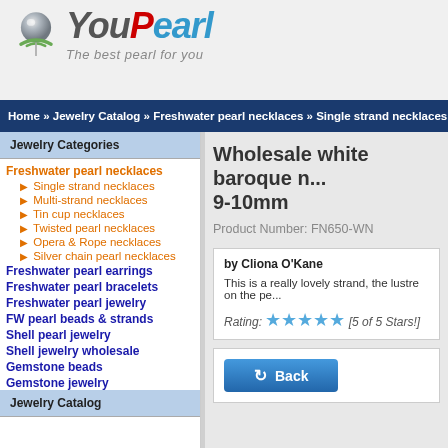[Figure (logo): YouPearl logo with pearl icon and tagline 'The best pearl for you']
Home » Jewelry Catalog » Freshwater pearl necklaces » Single strand necklaces »
Jewelry Categories
Freshwater pearl necklaces
► Single strand necklaces
► Multi-strand necklaces
► Tin cup necklaces
► Twisted pearl necklaces
► Opera & Rope necklaces
► Silver chain pearl necklaces
Freshwater pearl earrings
Freshwater pearl bracelets
Freshwater pearl jewelry
FW pearl beads & strands
Shell pearl jewelry
Shell jewelry wholesale
Gemstone beads
Gemstone jewelry
Jewelry findings
Jewelry Catalog
Wholesale white baroque n... 9-10mm
Product Number: FN650-WN
by Cliona O'Kane
This is a really lovely strand, the lustre on the pe...
Rating: ★★★★★ [5 of 5 Stars!]
Back